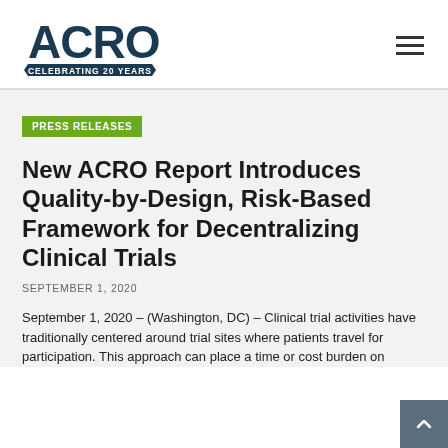[Figure (logo): ACRO logo with text 'CELEBRATING 20 YEARS' on a banner below]
PRESS RELEASES
New ACRO Report Introduces Quality-by-Design, Risk-Based Framework for Decentralizing Clinical Trials
SEPTEMBER 1, 2020
September 1, 2020 – (Washington, DC) – Clinical trial activities have traditionally centered around trial sites where patients travel for participation. This approach can place a time or cost burden on